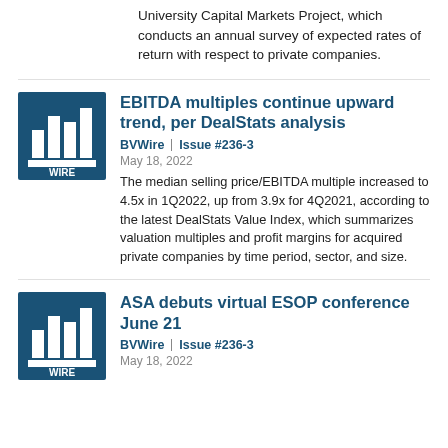University Capital Markets Project, which conducts an annual survey of expected rates of return with respect to private companies.
[Figure (logo): BVWire logo: dark blue square with white bar chart icon and 'WIRE' text at bottom]
EBITDA multiples continue upward trend, per DealStats analysis
BVWire | Issue #236-3
May 18, 2022
The median selling price/EBITDA multiple increased to 4.5x in 1Q2022, up from 3.9x for 4Q2021, according to the latest DealStats Value Index, which summarizes valuation multiples and profit margins for acquired private companies by time period, sector, and size.
[Figure (logo): BVWire logo: dark blue square with white bar chart icon and 'WIRE' text at bottom]
ASA debuts virtual ESOP conference June 21
BVWire | Issue #236-3
May 18, 2022